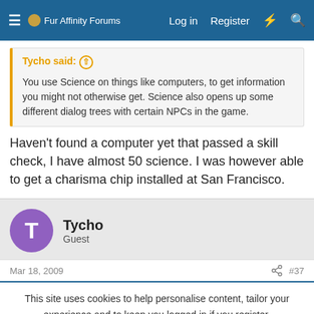Fur Affinity Forums — Log in  Register
Tycho said: ↑
You use Science on things like computers, to get information you might not otherwise get. Science also opens up some different dialog trees with certain NPCs in the game.
Haven't found a computer yet that passed a skill check, I have almost 50 science. I was however able to get a charisma chip installed at San Francisco.
Tycho
Guest
Mar 18, 2009  #37
This site uses cookies to help personalise content, tailor your experience and to keep you logged in if you register.
By continuing to use this site, you are consenting to our use of cookies.
✓ Accept   Learn more...